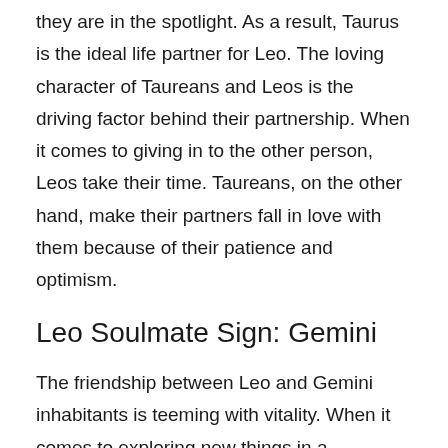they are in the spotlight. As a result, Taurus is the ideal life partner for Leo. The loving character of Taureans and Leos is the driving factor behind their partnership. When it comes to giving in to the other person, Leos take their time. Taureans, on the other hand, make their partners fall in love with them because of their patience and optimism.
Leo Soulmate Sign: Gemini
The friendship between Leo and Gemini inhabitants is teeming with vitality. When it comes to exploring new things in a relationship, they are both highly expressive and eager. Another thing that keeps them going is their constant appreciation for one another. With their charismatic demeanors, Leo and Gemini natives are able